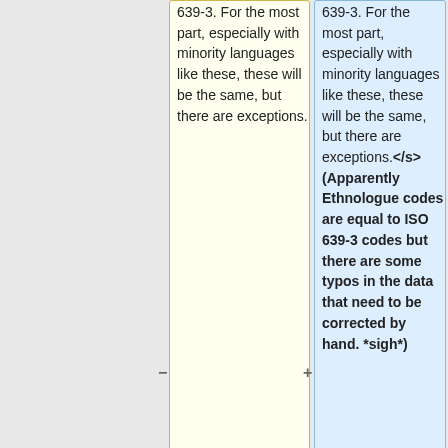639-3. For the most part, especially with minority languages like these, these will be the same, but there are exceptions.
639-3. For the most part, especially with minority languages like these, these will be the same, but there are exceptions.</s> (Apparently Ethnologue codes are equal to ISO 639-3 codes but there are some typos in the data that need to be corrected by hand. *sigh*)
* Perform validation on the OSIS files (either
* Perform validation on the OSIS files (either